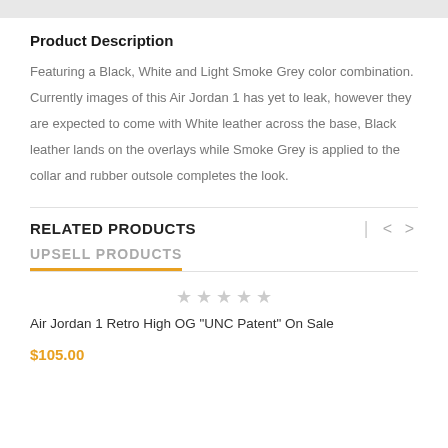Product Description
Featuring a Black, White and Light Smoke Grey color combination. Currently images of this Air Jordan 1 has yet to leak, however they are expected to come with White leather across the base, Black leather lands on the overlays while Smoke Grey is applied to the collar and rubber outsole completes the look.
RELATED PRODUCTS
UPSELL PRODUCTS
Air Jordan 1 Retro High OG "UNC Patent" On Sale
$105.00